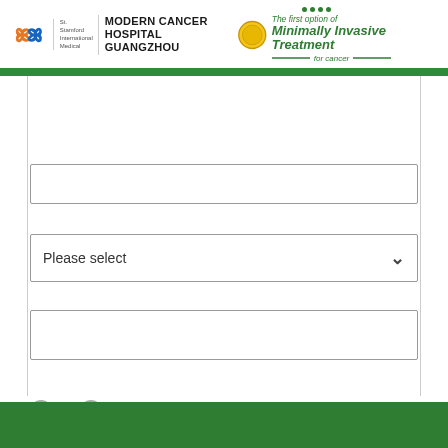[Figure (logo): St. Stamford Modern Cancer Hospital Guangzhou logo with medal and Minimally Invasive Treatment tagline]
[Figure (other): Empty form input field (text box)]
[Figure (other): Dropdown select field with 'Please select' placeholder and chevron]
[Figure (other): Empty form input field (text box)]
[Figure (other): Two radio button circles at bottom of form]